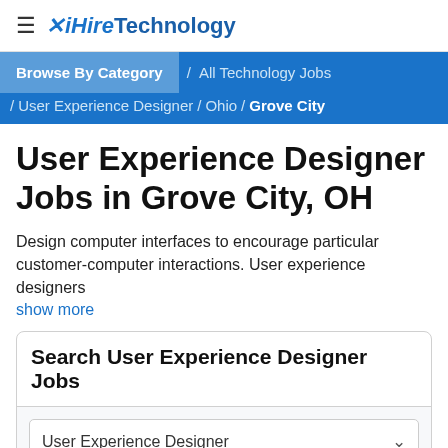≡ iHire Technology
Browse By Category / All Technology Jobs / User Experience Designer / Ohio / Grove City
User Experience Designer Jobs in Grove City, OH
Design computer interfaces to encourage particular customer-computer interactions. User experience designers
show more
Search User Experience Designer Jobs
User Experience Designer
Grove City, OH